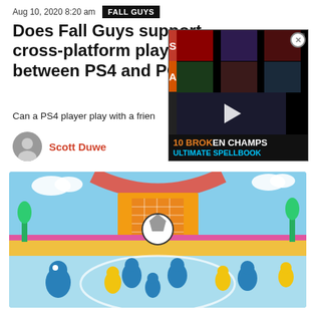Aug 10, 2020 8:20 am  FALL GUYS
Does Fall Guys support cross-platform play between PS4 and PC?
Can a PS4 player play with a frien
Scott Duwe
[Figure (screenshot): Advertisement overlay showing '10 BROKEN CHAMPS ULTIMATE SPELLBOOK' League of Legends video thumbnail with play button, champion grid thumbnails, S and A rating buttons]
[Figure (screenshot): Fall Guys gameplay screenshot showing colorful bean characters playing soccer on a bright blue and yellow arena field with a large soccer ball near a goal]